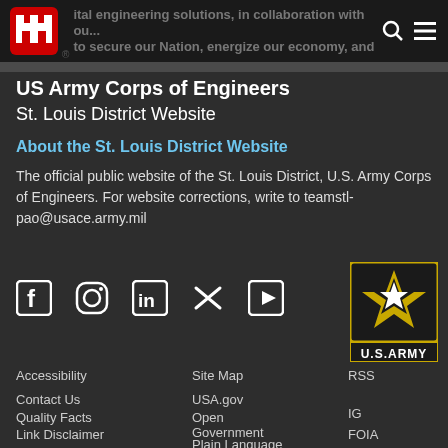US Army Corps of Engineers - St. Louis District Website
US Army Corps of Engineers
St. Louis District Website
About the St. Louis District Website
The official public website of the St. Louis District, U.S. Army Corps of Engineers. For website corrections, write to teamstl-pao@usace.army.mil
[Figure (logo): Social media icons: Facebook, Instagram, LinkedIn, Twitter, YouTube]
[Figure (logo): U.S. Army star logo with U.S.ARMY text below in black and gold box]
Accessibility
Contact Us
Quality Facts
Link Disclaimer
No Fear Act
Privacy &
Site Map
USA.gov
Open Government
Plain Language
EEO & SHARP
Small Business
RSS
IG
FOIA
iSALUTE